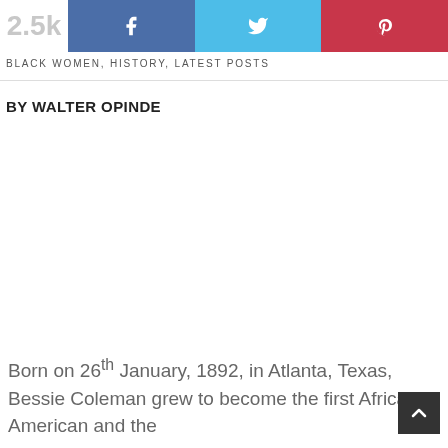[Figure (screenshot): Social share bar with share count 2.5k, Facebook button (blue), Twitter button (light blue), Pinterest button (red)]
BLACK WOMEN, HISTORY, LATEST POSTS
BY WALTER OPINDE
Born on 26th January, 1892, in Atlanta, Texas, Bessie Coleman grew to become the first African-American and the